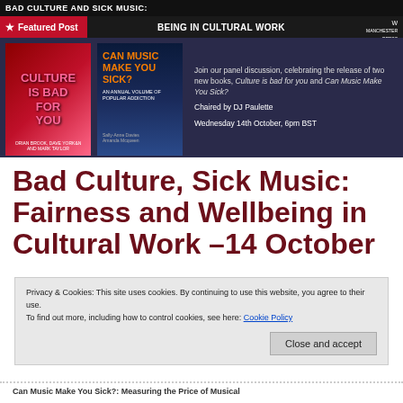[Figure (screenshot): Blog post banner image showing two book covers — 'Culture is Bad for You' and 'Can Music Make You Sick?' — with a Featured Post badge and text about a panel discussion chaired by DJ Paulette on Wednesday 14th October, 6pm BST.]
Bad Culture, Sick Music: Fairness and Wellbeing in Cultural Work –14 October
Privacy & Cookies: This site uses cookies. By continuing to use this website, you agree to their use. To find out more, including how to control cookies, see here: Cookie Policy
Can Music Make You Sick?: Measuring the Price of Musical